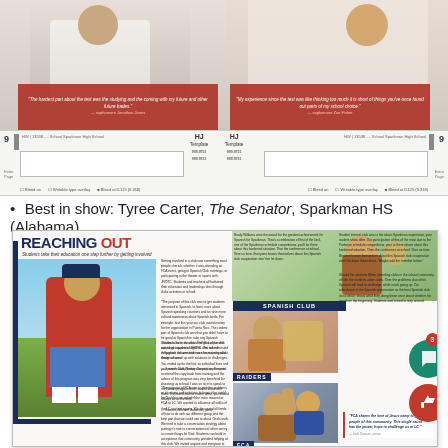[Figure (photo): Top banner showing two students in white shirts against a red background with quotes overlay, from The Senator yearbook at Sparkman High School]
[Figure (infographic): Template strip showing page layout tools with HJ Template boxes, numbered pages (9), and checkboxes]
Best in show: Tyree Carter, The Senator, Sparkman HS (Alabama)
[Figure (photo): Full newspaper spread preview of 'Reaching Out' feature from The Senator yearbook, Sparkman HS. Shows a student in a red shirt outdoors, Spanish Club, Raiders, and FCA club coverage with multiple photos and text columns. Pull quote: 'FCA shares the love of Jesus campaign to young people of this community...' with comment and like social media icons on right side.]